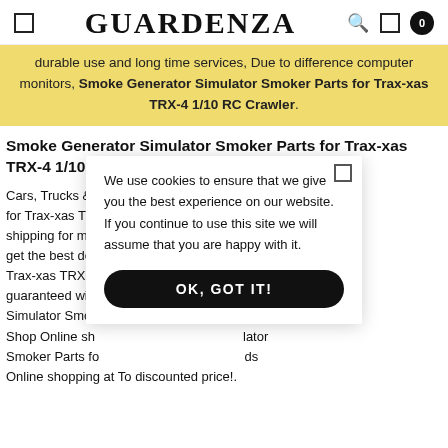GUARDENZA
durable use and long time services, Due to difference computer monitors, Smoke Generator Simulator Smoker Parts for Trax-xas TRX-4 1/10 RC Crawler.
Smoke Generator Simulator Smoker Parts for Trax-xas TRX-4 1/10 RC Crawler
Cars, Trucks & [Parts] for Trax-xas TR[X...] Free shipping for ma[ny...] d get the best dea[l...] Trax-xas TRX-4 [...]ice guaranteed with[...] ator Simulator Smok[...] unt Shop Online sh[...] lator Smoker Parts fo[...] ds Online shopping at To discounted price!.
We use cookies to ensure that we give you the best experience on our website. If you continue to use this site we will assume that you are happy with it. OK, GOT IT!